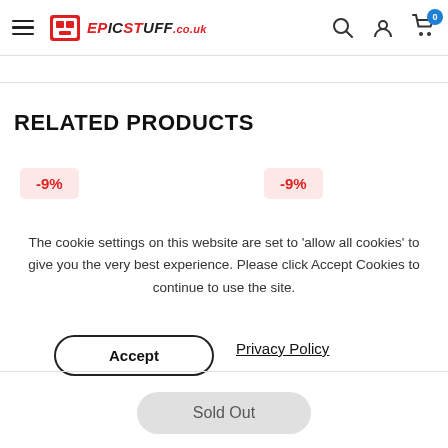EpicStuff.co.uk website header with hamburger menu, logo, search, account and cart icons
RELATED PRODUCTS
[Figure (other): Product discount badge showing -9% on pink background, left side]
[Figure (other): Product discount badge showing -9% on pink background, right side]
The cookie settings on this website are set to 'allow all cookies' to give you the very best experience. Please click Accept Cookies to continue to use the site.
Accept
Privacy Policy
Sold Out